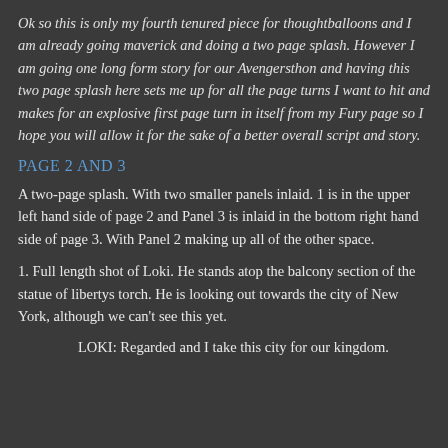Ok so this is only my fourth tenured piece for thoughtballoons and I am already going maverick and doing a two page splash. However I am going one long form story for our Avengersthon and having this two page splash here sets me up for all the page turns I want to hit and makes for an explosive first page turn in itself from my Fury page so I hope you will allow it for the sake of a better overall script and story.
PAGE 2 AND 3
A two-page splash. With two smaller panels inlaid. 1 is in the upper left hand side of page 2 and Panel 3 is inlaid in the bottom right hand side of page 3. With Panel 2 making up all of the other space.
1. Full length shot of Loki. He stands atop the balcony section of the statue of libertys torch. He is looking out towards the city of New York, although we can't see this yet.
LOKI: Regarded and I take this city for our kingdom.